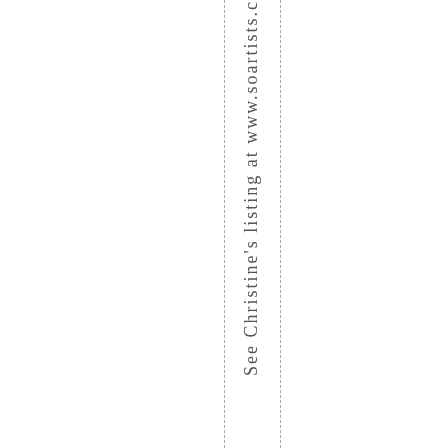See Christine's listing at www.soartists.c